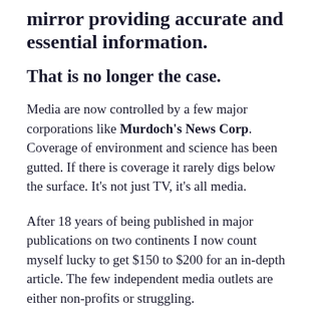mirror providing accurate and essential information.
That is no longer the case.
Media are now controlled by a few major corporations like Murdoch's News Corp. Coverage of environment and science has been gutted. If there is coverage it rarely digs below the surface. It’s not just TV, it’s all media.
After 18 years of being published in major publications on two continents I now count myself lucky to get $150 to $200 for an in-depth article. The few independent media outlets are either non-profits or struggling.